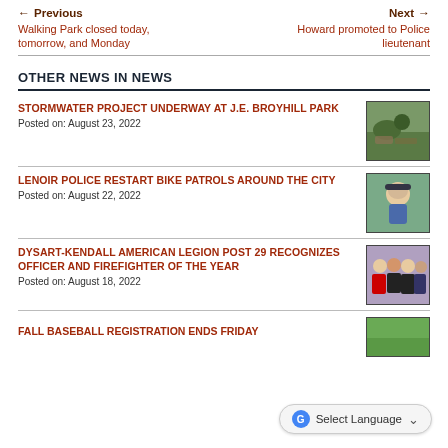← Previous | Walking Park closed today, tomorrow, and Monday | Next → | Howard promoted to Police lieutenant
OTHER NEWS IN NEWS
STORMWATER PROJECT UNDERWAY AT J.E. BROYHILL PARK
Posted on: August 23, 2022
[Figure (photo): Outdoor stormwater project site with rocks and soil at J.E. Broyhill Park]
LENOIR POLICE RESTART BIKE PATROLS AROUND THE CITY
Posted on: August 22, 2022
[Figure (photo): Police officer in blue shirt and cap smiling outdoors]
DYSART-KENDALL AMERICAN LEGION POST 29 RECOGNIZES OFFICER AND FIREFIGHTER OF THE YEAR
Posted on: August 18, 2022
[Figure (photo): Group photo of officers and firefighters in uniform]
FALL BASEBALL REGISTRATION ENDS FRIDAY
[Figure (photo): Outdoor green field or sports setting]